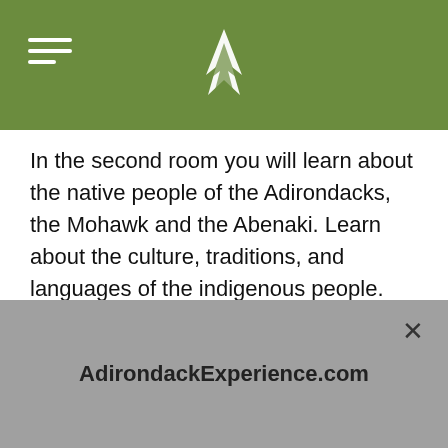[Figure (logo): Green header bar with hamburger menu icon on the left and a white mountain/feather logo in the center]
In the second room you will learn about the native people of the Adirondacks, the Mohawk and the Abenaki. Learn about the culture, traditions, and languages of the indigenous people. Kids can even take a break and learn a Native American dance, and learn about how Native Americans dressed.
AdirondackExperience.com